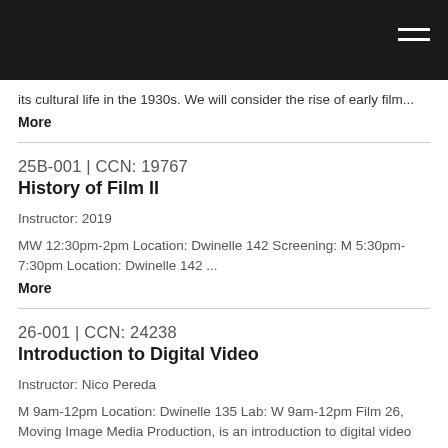its cultural life in the 1930s. We will consider the rise of early film...
More
25B-001 | CCN: 19767
History of Film II
Instructor: 2019
MW 12:30pm-2pm Location: Dwinelle 142 Screening: M 5:30pm-7:30pm Location: Dwinelle 142 ...
More
26-001 | CCN: 24238
Introduction to Digital Video
Instructor: Nico Pereda
M 9am-12pm Location: Dwinelle 135 Lab: W 9am-12pm Film 26, Moving Image Media Production, is an introduction to digital video